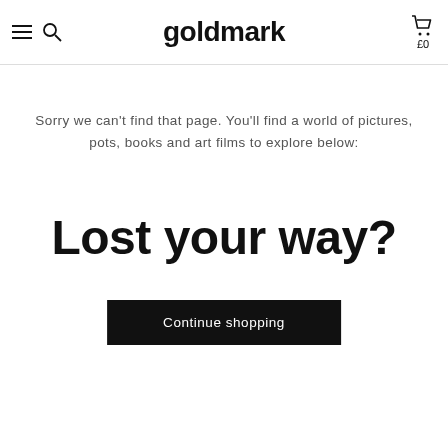goldmark
Sorry we can't find that page. You'll find a world of pictures, pots, books and art films to explore below:
Lost your way?
Continue shopping